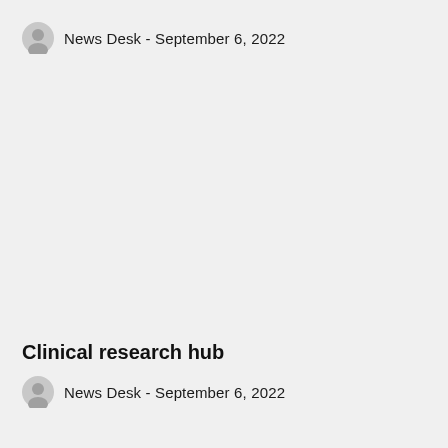News Desk  -  September 6, 2022
Clinical research hub
News Desk  -  September 6, 2022